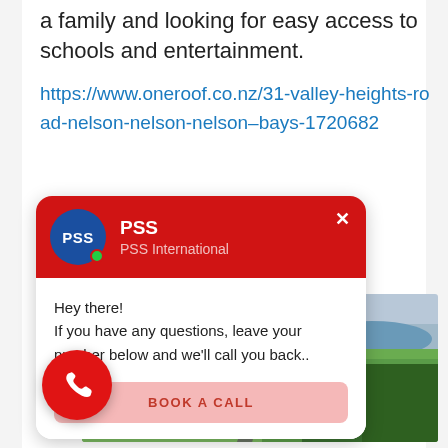a family and looking for easy access to schools and entertainment.
https://www.oneroof.co.nz/31-valley-heights-road-nelson-nelson-nelson–bays-1720682
[Figure (screenshot): PSS International chat popup widget with red header showing PSS logo, name, subtitle, a close button, a message 'Hey there! If you have any questions, leave your number below and we'll call you back..' and a BOOK A CALL button]
[Figure (photo): Aerial drone photograph of rural New Zealand landscape with green fields, a road, farm buildings, trees and a body of water in the background]
[Figure (other): Red circular phone call button with white phone icon]